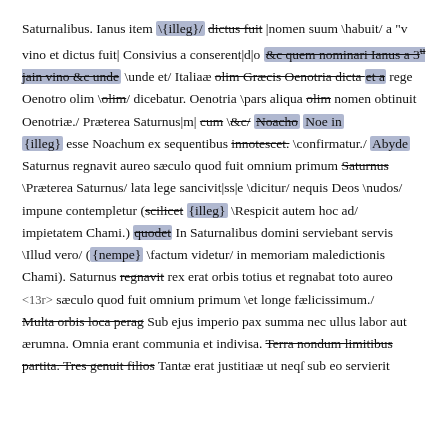Saturnalibus. Ianus item {illeg} dictus fuit |nomen suum \habuit/ a "v vino et dictus fuit| Consivius a conserent|d|o &c quem nominari Ianus a 3u jain vino &c unde \unde et/ Italiae olim Graecis Oenotria dicta et a rege Oenotro olim \olim/ dicebatur. Oenotria \pars aliqua olim nomen obtinuit Oenotriae./ Praeterea Saturnus|m| cum \&c/ Noacho Noe in {illeg} esse Noachum ex sequentibus innotescet. \confirmatur./ Abyde Saturnus regnavit aureo saeculo quod fuit omnium primum Saturnus \Praeterea Saturnus/ lata lege sancivit|ss|e \dicitur/ nequis Deos \nudos/ impune contempletur (scilicet {illeg} \Respicit autem hoc ad/ impietatem Chami.) quodet In Saturnalibus domini serviebant servis \Illud vero/ ({nempe} \factum videtur/ in memoriam maledictionis Chami). Saturnus regnavit rex erat orbis totius et regnabat toto aureo <13r> saeculo quod fuit omnium primum \et longe faelicissimum./ Multa orbis loca perag Sub ejus imperio pax summa nec ullus labor aut aerumna. Omnia erant communia et indivisa. Terra nondum limitibus partita. Tres genuit filios Tantae erat justitiae ut neqs sub eo servierit